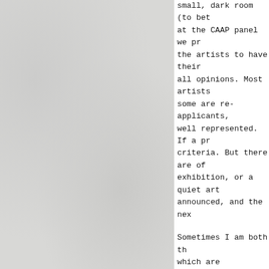[Figure (photo): Left half of page showing a light grey textured background, resembling a scanned paper or wall surface with subtle speckles and dust marks.]
small, dark room (to bet at the CAAP panel we pr the artists to have their all opinions. Most artists some are re-applicants, well represented. If a pr criteria. But there are of exhibition, or a quiet art announced, and the nex

Sometimes I am both th which are commonplace roster of artists and also from a Powerpoint prese University, deciding the show. For this I was give categories.